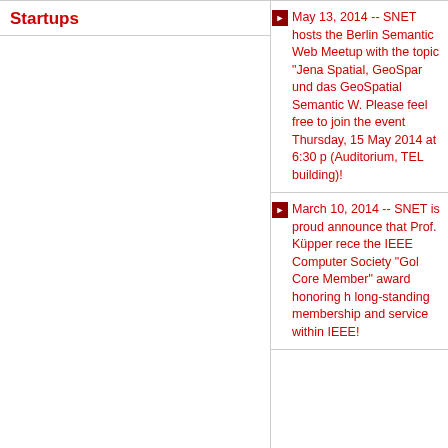Startups
May 13, 2014 -- SNET hosts the Berlin Semantic Web Meetup with the topic "Jena Spatial, GeoSpar und das GeoSpatial Semantic W. Please feel free to join the event Thursday, 15 May 2014 at 6:30 p (Auditorium, TEL building)!
March 10, 2014 -- SNET is proud announce that Prof. Küpper rece the IEEE Computer Society "Gol Core Member" award honoring h long-standing membership and service within IEEE!
zuletzt aktualisiert:  08.09.
Seite drucken | Abdull Muhammed U
Kontakt   Impressum   Siter   English   Inde Z   Mobil   Datens